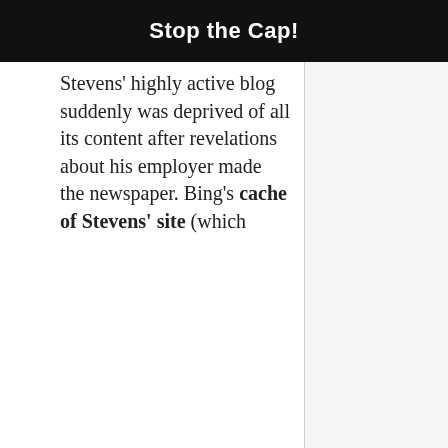Stop the Cap!
Stevens' highly active blog suddenly was deprived of all its content after revelations about his employer made the newspaper. Bing's cache of Stevens' site (which